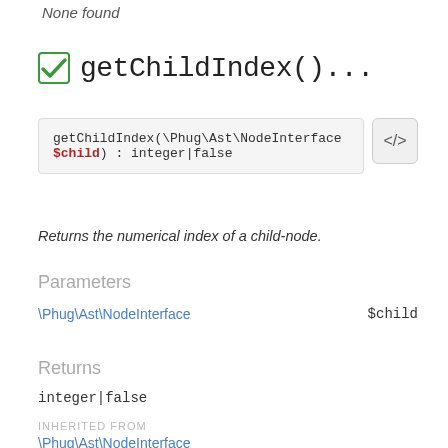None found
getChildIndex()...
getChildIndex(\Phug\Ast\NodeInterface $child) : integer|false
Returns the numerical index of a child-node.
Parameters
\Phug\Ast\NodeInterface   $child
Returns
integer|false
INHERITED FROM
\Phug\Ast\NodeInterface